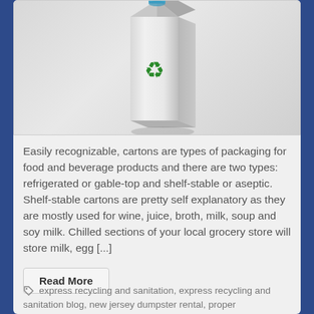[Figure (photo): A white rectangular milk/juice carton with a green recycling symbol on the front and a blue cap on top, photographed against a light gray gradient background.]
Easily recognizable, cartons are types of packaging for food and beverage products and there are two types: refrigerated or gable-top and shelf-stable or aseptic. Shelf-stable cartons are pretty self explanatory as they are mostly used for wine, juice, broth, milk, soup and soy milk. Chilled sections of your local grocery store will store milk, egg [...]
Read More
express recycling and sanitation, express recycling and sanitation blog, new jersey dumpster rental, proper